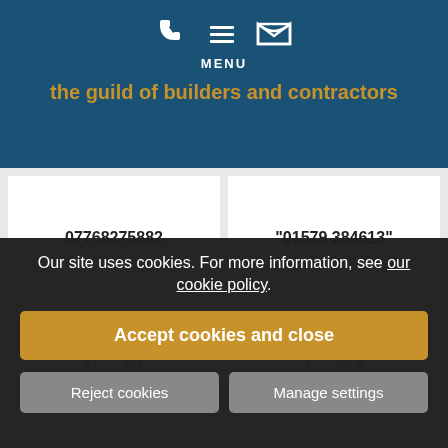MENU
the guild of builders and contractors
07768275882
01579 384613
[Figure (illustration): Checkbox checkmark icon in gold/orange]
[Figure (illustration): Checkbox checkmark icon in gold/orange]
GRANGE ENTERPRISES COUNTRY CO.LTD
GRM FORMULATIONS LIMITED
Our site uses cookies. For more information, see our cookie policy.
Accept cookies and close
Reject cookies
Manage settings